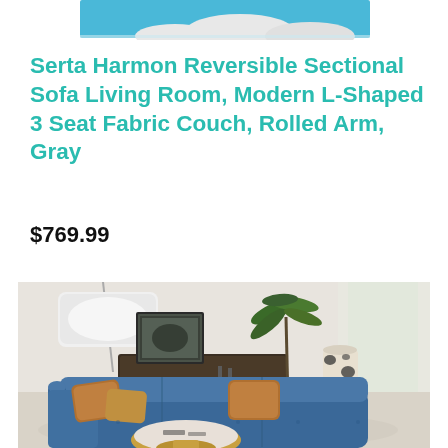[Figure (photo): Partial top view of a product image — blue/white background suggesting a pillow or furniture item, cropped at the top of the page]
Serta Harmon Reversible Sectional Sofa Living Room, Modern L-Shaped 3 Seat Fabric Couch, Rolled Arm, Gray
$769.99
[Figure (photo): Product lifestyle photo of a blue velvet L-shaped sectional sofa with brown/gold accent pillows, round white marble and gold coffee table, floor lamp with white drum shade, green tropical plant, dark wood sideboard with framed artwork, and cowhide-patterned vase, in a modern living room setting]